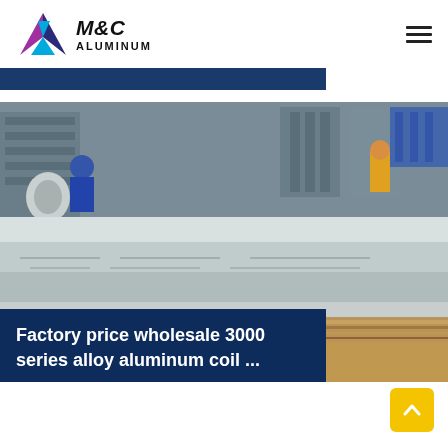[Figure (logo): M&C Aluminum company logo with triangular geometric shapes in blue, light blue, and magenta/purple colors, with text 'M&C' in bold italic and 'ALUMINUM' below]
[Figure (photo): Industrial aluminum manufacturing facility showing workers and stacked aluminum sheets/coils in a factory setting]
Factory price wholesale 3000 series alloy aluminum coil ...